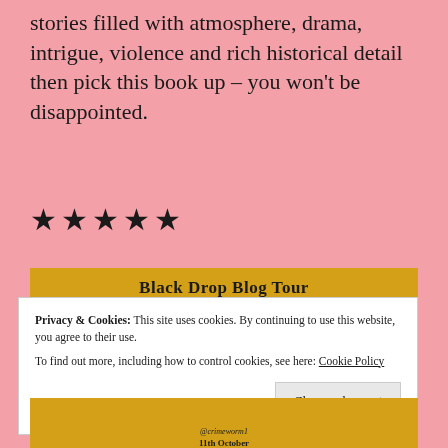stories filled with atmosphere, drama, intrigue, violence and rich historical detail then pick this book up – you won't be disappointed.
★★★★★
[Figure (infographic): Black Drop Blog Tour banner in gold/yellow background. Shows 'Black Drop Blog Tour' title and three date columns: 7th October (@beccajbooks, @starry.starry.road), 13th October (@shh_reads_, @secretworldofabook), 19th October (@agenuineopinion, @murderjowrote).]
Privacy & Cookies: This site uses cookies. By continuing to use this website, you agree to their use.
To find out more, including how to control cookies, see here: Cookie Policy
Close and accept
[Figure (infographic): Partial bottom of Black Drop Blog Tour banner showing '11th October' date and '@crimeworm1' handle, along with partial book cover image on the right.]